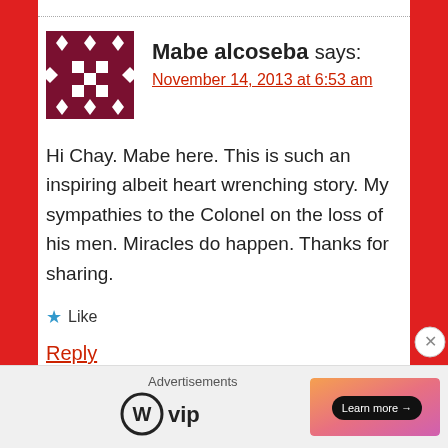[Figure (illustration): Avatar icon: dark red/maroon geometric pixel-art style avatar with diamond and square shapes]
Mabe alcoseba says:
November 14, 2013 at 6:53 am
Hi Chay. Mabe here. This is such an inspiring albeit heart wrenching story. My sympathies to the Colonel on the loss of his men. Miracles do happen. Thanks for sharing.
★ Like
Reply
Advertisements
[Figure (logo): WordPress VIP logo with circle W icon and 'vip' text]
[Figure (illustration): Advertisement banner with orange/pink gradient background and 'Learn more →' button]